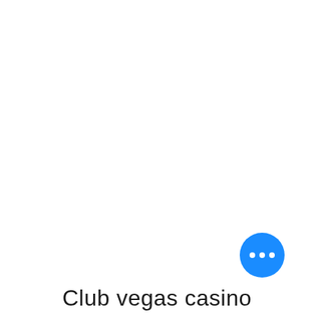[Figure (other): Blue circular button with three white dots (ellipsis/more options icon)]
Club vegas casino